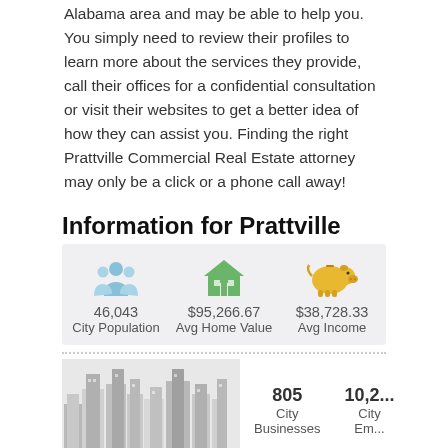Alabama area and may be able to help you. You simply need to review their profiles to learn more about the services they provide, call their offices for a confidential consultation or visit their websites to get a better idea of how they can assist you. Finding the right Prattville Commercial Real Estate attorney may only be a click or a phone call away!
Information for Prattville
[Figure (infographic): Three icons: people (City Population), house (Avg Home Value), piggy bank (Avg Income) with values 46,043 / $95,266.67 / $38,728.33]
[Figure (photo): City skyline illustration in grayscale with city business stats: 805 City Businesses, 10,2... City Em...]
There are no Commercial Real Estate Firms currently liste...
Please try either expanding your search, or provide us with the following information and... Real Estate Attorney in Prattville, Alabama.
Option 1 - Let us find you a Commercial Real...